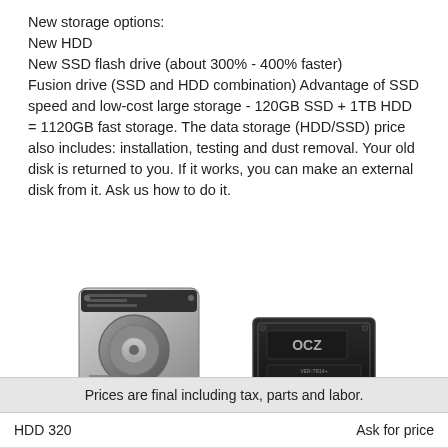New storage options:
New HDD
New SSD flash drive (about 300% - 400% faster)
Fusion drive (SSD and HDD combination) Advantage of SSD speed and low-cost large storage - 120GB SSD + 1TB HDD = 1120GB fast storage. The data storage (HDD/SSD) price also includes: installation, testing and dust removal. Your old disk is returned to you. If it works, you can make an external disk from it. Ask us how to do it.
[Figure (illustration): Two storage device illustrations: a silver HDD (Macintosh HD) on the left, and a black SSD drive (Macintosh SSD) on the right.]
Macintosh HD    Macintosh SSD
|  |  |
| --- | --- |
| Prices are final including tax, parts and labor. |  |
| HDD 320 | Ask for price |